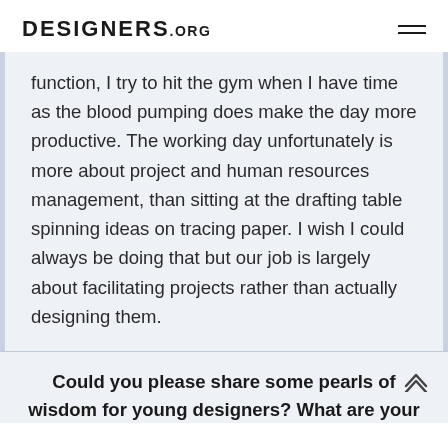DESIGNERS.ORG
function, I try to hit the gym when I have time as the blood pumping does make the day more productive. The working day unfortunately is more about project and human resources management, than sitting at the drafting table spinning ideas on tracing paper. I wish I could always be doing that but our job is largely about facilitating projects rather than actually designing them.
Could you please share some pearls of wisdom for young designers? What are your